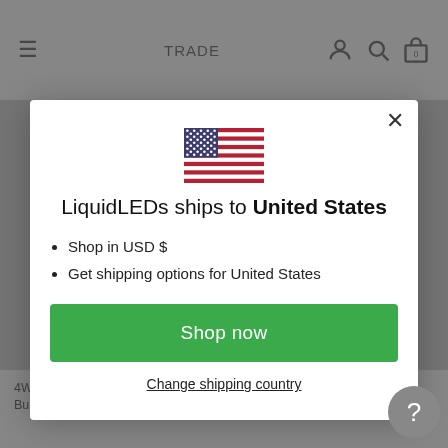TRADE
[Figure (illustration): US flag emoji/icon centered in modal]
LiquidLEDs ships to United States
Shop in USD $
Get shipping options for United States
Shop now
Change shipping country
4W Fancy Round Dimmable LED Bulb (B15) Frosted in...
8W G95 Opal Dimm... LED Bulb (E27) in Natural Wh...